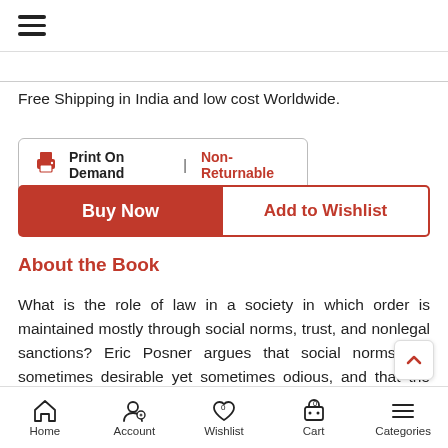≡ (hamburger menu icon)
Free Shipping in India and low cost Worldwide.
Print On Demand | Non-Returnable
Buy Now
Add to Wishlist
About the Book
What is the role of law in a society in which order is maintained mostly through social norms, trust, and nonlegal sanctions? Eric Posner argues that social norms are sometimes desirable yet sometimes odious, and that the law is critical to enhancing good social norms and underm
Home | Account | Wishlist 0 | Cart 0 | Categories